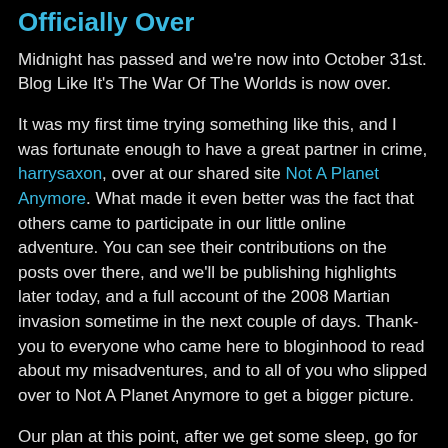Officially Over
Midnight has passed and we're now into October 31st. Blog Like It's The War Of The Worlds is now over.
It was my first time trying something like this, and I was fortunate enough to have a great partner in crime, harrysaxon, over at our shared site Not A Planet Anymore. What made it even better was the fact that others came to participate in our little online adventure. You can see their contributions on the posts over there, and we'll be publishing highlights later today, and a full account of the 2008 Martian invasion sometime in the next couple of days. Thank-you to everyone who came here to bloginhood to read about my misadventures, and to all of you who slipped over to Not A Planet Anymore to get a bigger picture.
Our plan at this point, after we get some sleep, go for a celebratory beer and spend some time with our wives, is to evaluate how things went. That being said, harrysaxon and I are both pleased with how BLITWOTW played out, and I have a feeling this will become an annual event. I hope all of